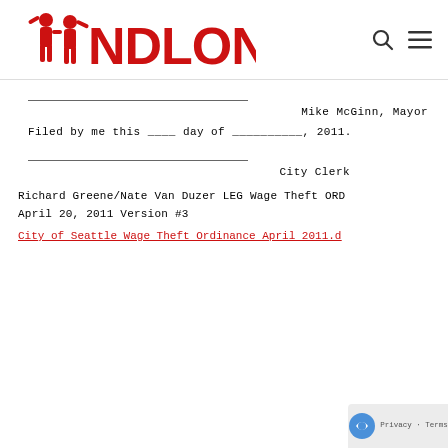NDLON
Mike McGinn, Mayor
Filed by me this ____ day of __________, 2011.
City Clerk
Richard Greene/Nate Van Duzer LEG Wage Theft ORD
April 20, 2011 Version #3
City of Seattle Wage Theft Ordinance April 2011.d...